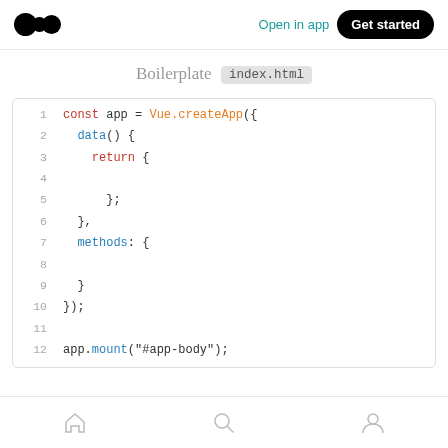Medium logo | Open in app | Get started
Boilerplate index.html
[Figure (screenshot): Code editor screenshot showing Vue.js boilerplate JavaScript code with syntax highlighting. Lines 1-12 showing const app = Vue.createApp({...}); and app.mount('#app-body');]
Home | Search | Profile